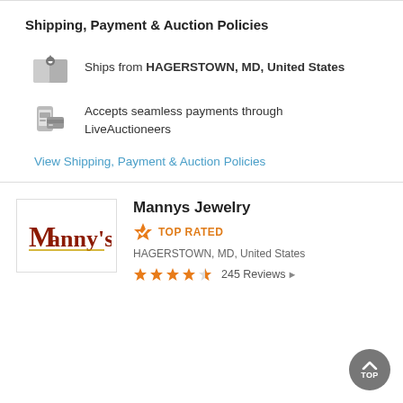Shipping, Payment & Auction Policies
Ships from HAGERSTOWN, MD, United States
Accepts seamless payments through LiveAuctioneers
View Shipping, Payment & Auction Policies
Mannys Jewelry
TOP RATED
HAGERSTOWN, MD, United States
245 Reviews ▶